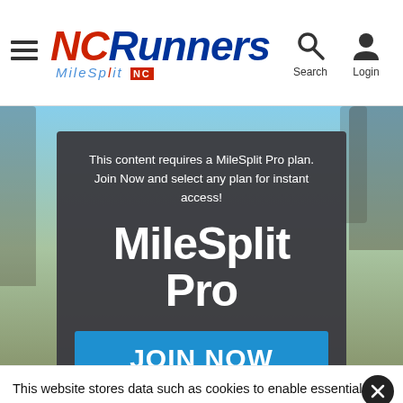NCRunners MileSplit NC
[Figure (screenshot): NCRunners website screenshot showing a MileSplit Pro paywall modal overlay over a background photo of runners, with a JOIN NOW button, and a cookie consent banner at the bottom.]
This content requires a MileSplit Pro plan. Join Now and select any plan for instant access!
MileSplit Pro
JOIN NOW
This website stores data such as cookies to enable essential site functionality, as well as marketing, personalization, and analytics. By remaining on this website you indicate your consent. Data Storage Policy